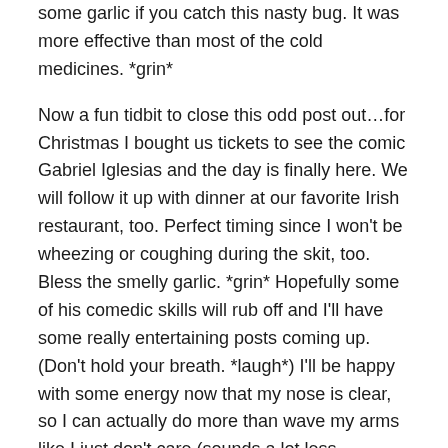some garlic if you catch this nasty bug. It was more effective than most of the cold medicines. *grin*
Now a fun tidbit to close this odd post out…for Christmas I bought us tickets to see the comic Gabriel Iglesias and the day is finally here. We will follow it up with dinner at our favorite Irish restaurant, too. Perfect timing since I won't be wheezing or coughing during the skit, too. Bless the smelly garlic. *grin* Hopefully some of his comedic skills will rub off and I'll have some really entertaining posts coming up. (Don't hold your breath. *laugh*) I'll be happy with some energy now that my nose is clear, so I can actually do more than wave my arms like I just don't care (sounds a lot less embarrassing than flailing about, trying to fling or shake stuff off my fingers) and make pretty jars for fake flowers and hair ties (sounds much better than just fixing failed batches). Pamper on, Garth. 😉